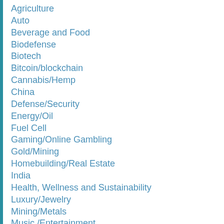Agriculture
Auto
Beverage and Food
Biodefense
Biotech
Bitcoin/blockchain
Cannabis/Hemp
China
Defense/Security
Energy/Oil
Fuel Cell
Gaming/Online Gambling
Gold/Mining
Homebuilding/Real Estate
India
Health, Wellness and Sustainability
Luxury/Jewelry
Mining/Metals
Music /Entertainment
Natural Gas